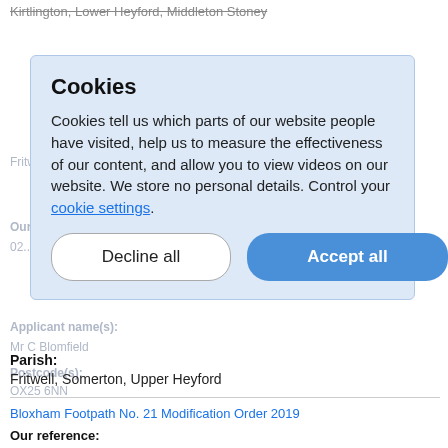Kirtlington, Lower Heyford, Middleton Stoney
[Figure (screenshot): Cookie consent modal dialog on a government website. Contains title 'Cookies', descriptive text about cookie usage, a link 'cookie settings', a 'Decline all' button, and an 'Accept all' button.]
Parish:
Fritwell, Somerton, Upper Heyford
Bloxham Footpath No. 21 Modification Order 2019
Our reference:
03361